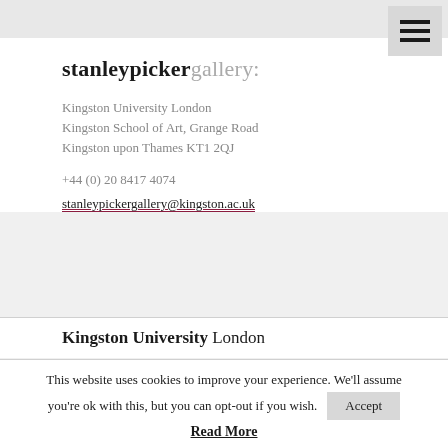[Figure (screenshot): Hamburger menu icon (three horizontal lines) in top-right corner on a grey background]
stanleypickergallery:
Kingston University London
Kingston School of Art, Grange Road
Kingston upon Thames KT1 2QJ
+44 (0) 20 8417 4074
stanleypickergallery@kingston.ac.uk
Kingston University London
This website uses cookies to improve your experience. We'll assume you're ok with this, but you can opt-out if you wish.
Accept
Read More